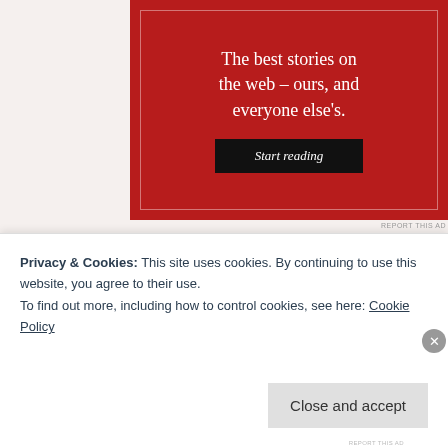[Figure (illustration): Red advertisement banner with white serif text reading 'The best stories on the web – ours, and everyone else's.' and a black 'Start reading' button, with a thin white border inset.]
REPORT THIS AD
B
~ beautiful look & make beauty
~ bubbly persona
Privacy & Cookies: This site uses cookies. By continuing to use this website, you agree to their use.
To find out more, including how to control cookies, see here: Cookie Policy
Close and accept